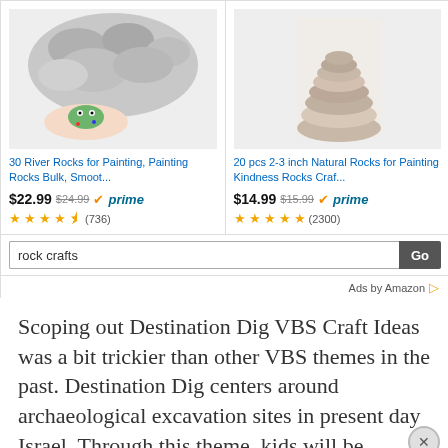[Figure (screenshot): Amazon product ad showing two rock painting products. Left: '30 River Rocks for Painting, Painting Rocks Bulk, Smoot...' priced at $22.99 (was $24.99), Prime eligible, 4.5 stars, 736 reviews. Right: '20 pcs 2-3 inch Natural Rocks for Painting Kindness Rocks Craf...' priced at $14.99 (was $15.99), Prime eligible, 5 stars, 2300 reviews. Below is a search box with 'rock crafts' and a Go button. At the bottom: 'Ads by Amazon' label.]
Scoping out Destination Dig VBS Craft Ideas was a bit trickier than other VBS themes in the past. Destination Dig centers around archaeological excavation sites in present day Israel. Through this theme, kids will be